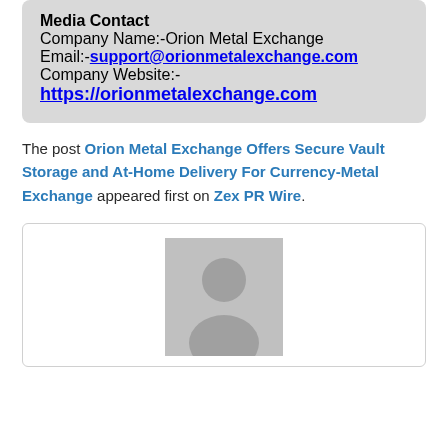Media Contact
Company Name:-Orion Metal Exchange
Email:-support@orionmetalexchange.com
Company Website:-
https://orionmetalexchange.com
The post Orion Metal Exchange Offers Secure Vault Storage and At-Home Delivery For Currency-Metal Exchange appeared first on Zex PR Wire.
[Figure (photo): Generic user avatar placeholder — grey silhouette of a person on a light grey square background]